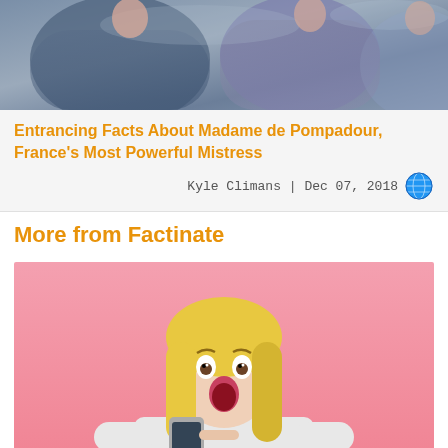[Figure (photo): Historical painting showing elegantly dressed women in blue and grey period dresses]
Entrancing Facts About Madame de Pompadour, France's Most Powerful Mistress
Kyle Climans | Dec 07, 2018
More from Factinate
[Figure (photo): Surprised blonde woman holding a smartphone on a pink background]
Random Facts About Everything